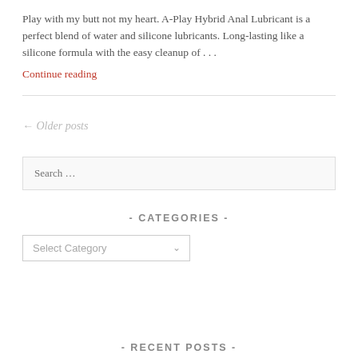Play with my butt not my heart. A-Play Hybrid Anal Lubricant is a perfect blend of water and silicone lubricants. Long-lasting like a silicone formula with the easy cleanup of . . .
Continue reading
← Older posts
Search …
- CATEGORIES -
Select Category
- RECENT POSTS -